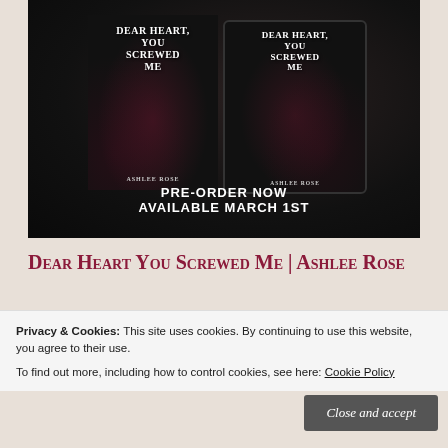[Figure (illustration): Two book covers of 'Dear Heart You Screwed Me' by Ashlee Rose on a dark background — one physical book and one e-reader/tablet display. Below the covers, bold white text reads 'PRE-ORDER NOW AVAILABLE MARCH 1ST'.]
Dear Heart You Screwed Me | Ashlee Rose
Privacy & Cookies: This site uses cookies. By continuing to use this website, you agree to their use.
To find out more, including how to control cookies, see here: Cookie Policy
Close and accept